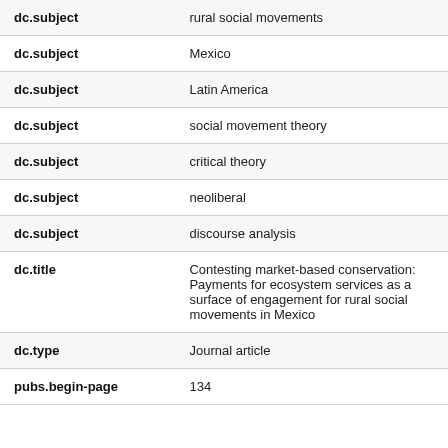| Field | Value |
| --- | --- |
| dc.subject | rural social movements |
| dc.subject | Mexico |
| dc.subject | Latin America |
| dc.subject | social movement theory |
| dc.subject | critical theory |
| dc.subject | neoliberal |
| dc.subject | discourse analysis |
| dc.title | Contesting market-based conservation: Payments for ecosystem services as a surface of engagement for rural social movements in Mexico |
| dc.type | Journal article |
| pubs.begin-page | 134 |